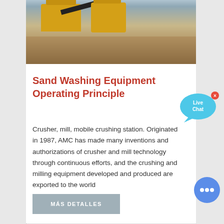[Figure (photo): Mining/quarrying machinery — yellow crushers and conveyor belts on a stone/earth site]
Sand Washing Equipment Operating Principle
Crusher, mill, mobile crushing station. Originated in 1987, AMC has made many inventions and authorizations of crusher and mill technology through continuous efforts, and the crushing and milling equipment developed and produced are exported to the world
MÁS DETALLES